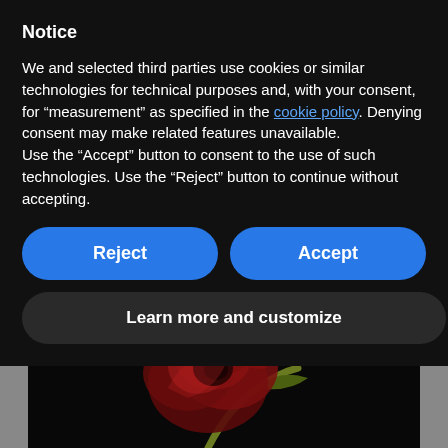Notice
We and selected third parties use cookies or similar technologies for technical purposes and, with your consent, for “measurement” as specified in the cookie policy. Denying consent may make related features unavailable.
Use the “Accept” button to consent to the use of such technologies. Use the “Reject” button to continue without accepting.
[Figure (screenshot): Cookie consent dialog with Reject and Accept buttons (blue, pill-shaped) and a Learn more and customize button (dark, pill-shaped)]
[Figure (photo): Photo of a red rose with stem and leaves against a dark background, partially visible at bottom of page]